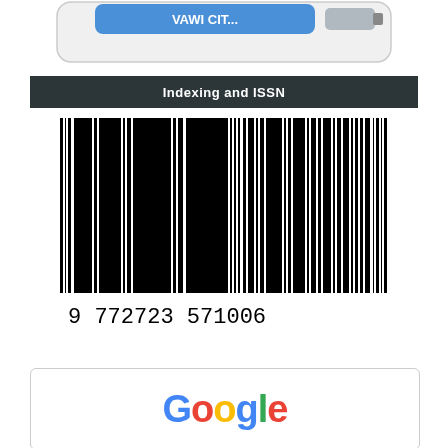[Figure (other): Partial view of a button or logo element at top of page, with blue text partially visible and a USB or tag-like shape]
Indexing and ISSN
[Figure (other): Barcode with number 9 772723 571006 underneath]
[Figure (logo): Google logo partially visible at bottom of page]